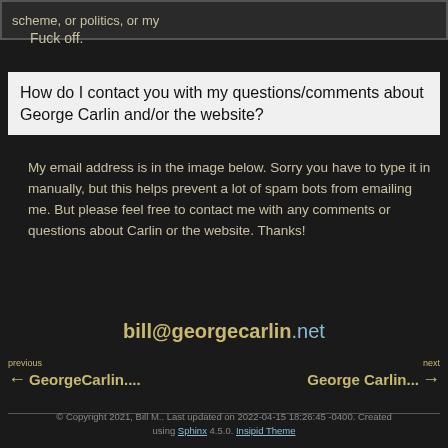scheme, or politics, or my
Fuck off.
How do I contact you with my questions/comments about George Carlin and/or the website?
My email address is in the image below. Sorry you have to type it in manually, but this helps prevent a lot of spam bots from emailing me. But please feel free to contact me with any comments or questions about Carlin or the website. Thanks!
bill@georgecarlin.net
previous
← GeorgeCarlin....
next
George Carlin... →
© Copyright 2021, Bill M.. Last updated on 2022-04-15 18:26:45 -0400. Created using Sphinx 4.5.0. Insipid Theme